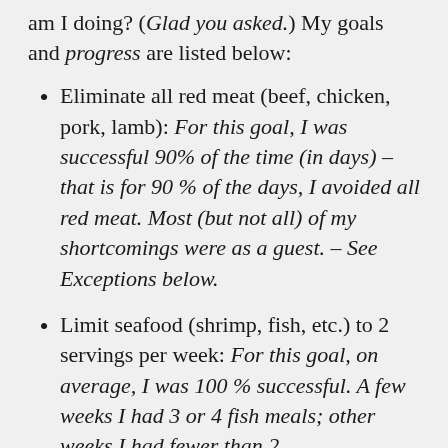am I doing? (Glad you asked.) My goals and progress are listed below:
Eliminate all red meat (beef, chicken, pork, lamb): For this goal, I was successful 90% of the time (in days) – that is for 90 % of the days, I avoided all red meat. Most (but not all) of my shortcomings were as a guest. – See Exceptions below.
Limit seafood (shrimp, fish, etc.) to 2 servings per week: For this goal, on average, I was 100 % successful. A few weeks I had 3 or 4 fish meals; other weeks I had fewer than 2.
Eliminate milk – substituting almond or soy milk: For this goal, I was successful about